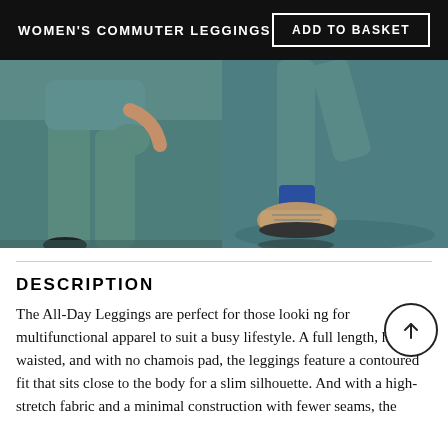WOMEN'S COMMUTER LEGGINGS | ADD TO BASKET
[Figure (photo): Two product photos of women's leggings on a teal/blue-grey background. Left photo shows a person wearing teal green leggings, lifting one leg. Right photo shows a close-up of legs wearing the leggings with trail running shoes.]
DESCRIPTION
The All-Day Leggings are perfect for those looking for multifunctional apparel to suit a busy lifestyle. A full length, high waisted, and with no chamois pad, the leggings feature a contoured fit that sits close to the body for a slim silhouette. And with a high-stretch fabric and a minimal construction with fewer seams, the